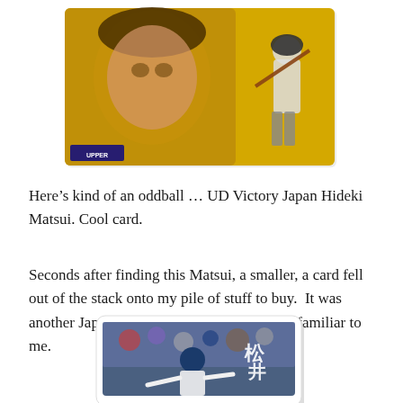[Figure (photo): Upper Deck Victory Japan Hideki Matsui baseball card with yellow/gold background, showing player looking up and batting pose]
Here’s kind of an oddball … UD Victory Japan Hideki Matsui. Cool card.
Seconds after finding this Matsui, a smaller, a card fell out of the stack onto my pile of stuff to buy.  It was another Japanese Matui card, only it was unfamiliar to me.
[Figure (photo): Japanese Hideki Matsui baseball card showing player batting with crowd in background and Japanese kanji autograph signature]